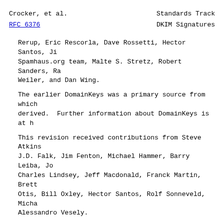Crocker, et al.                    Standards Track
RFC 6376                           DKIM Signatures
Rerup, Eric Rescorla, Dave Rossetti, Hector Santos, J. Spamhaus.org team, Malte S. Stretz, Robert Sanders, Ra Weiler, and Dan Wing.
The earlier DomainKeys was a primary source from which derived.  Further information about DomainKeys is at h
This revision received contributions from Steve Atkins, J.D. Falk, Jim Fenton, Michael Hammer, Barry Leiba, Jo Charles Lindsey, Jeff Macdonald, Franck Martin, Brett Otis, Bill Oxley, Hector Santos, Rolf Sonneveld, Micha Alessandro Vesely.
Authors' Addresses
Dave Crocker (editor)
Brandenburg InternetWorking
675 Spruce Dr.
Sunnyvale, CA  94086
USA
Phone: +1.408.246.8253
EMail: dcrocker@bbiw.net